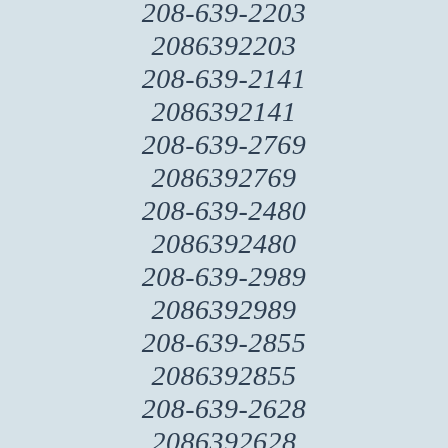208-639-2203
2086392203
208-639-2141
2086392141
208-639-2769
2086392769
208-639-2480
2086392480
208-639-2989
2086392989
208-639-2855
2086392855
208-639-2628
2086392628
208-639-2247
2086392247